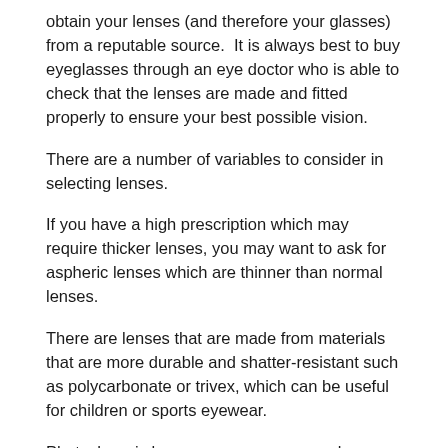obtain your lenses (and therefore your glasses) from a reputable source.  It is always best to buy eyeglasses through an eye doctor who is able to check that the lenses are made and fitted properly to ensure your best possible vision.
There are a number of variables to consider in selecting lenses.
If you have a high prescription which may require thicker lenses, you may want to ask for aspheric lenses which are thinner than normal lenses.
There are lenses that are made from materials that are more durable and shatter-resistant such as polycarbonate or trivex, which can be useful for children or sports eyewear.
Photochromic lenses can serve as eyeglasses and sunglasses as the lenses darken when exposed to the sunlight to block out the sunlight and UV rays.
Polarized lenses create greater eye comfort by reducing glare specifically from the water or snow and are great for sunglasses for those that spend time outdoors.